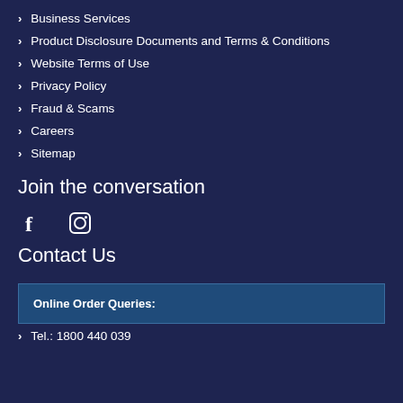Business Services
Product Disclosure Documents and Terms & Conditions
Website Terms of Use
Privacy Policy
Fraud & Scams
Careers
Sitemap
Join the conversation
[Figure (illustration): Facebook and Instagram social media icons]
Contact Us
| Online Order Queries: |
Tel.: 1800 440 039